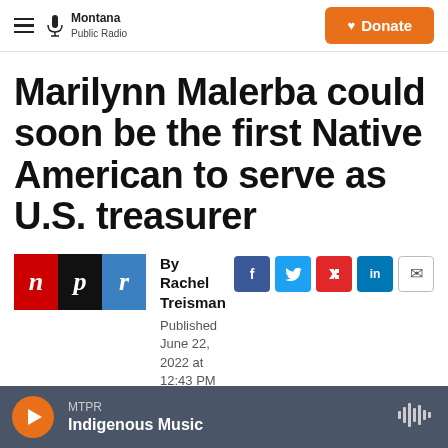Montana Public Radio | Donate
Marilynn Malerba could soon be the first Native American to serve as U.S. treasurer
By Rachel Treisman
Published June 22, 2022 at 12:43 PM MDT
MTPR — Indigenous Music